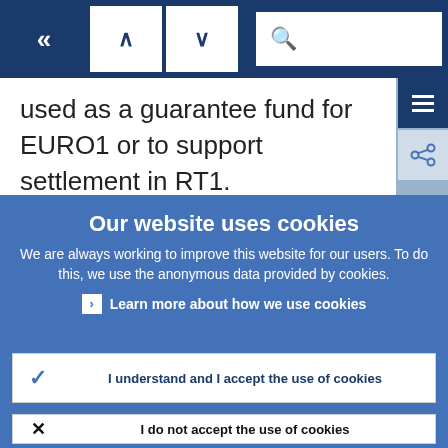[Figure (screenshot): Navigation bar with back (<<), up (^), down (v) arrow buttons and a search box]
used as a guarantee fund for EURO1 or to support settlement in RT1.
Our website uses cookies
We are always working to improve this website for our users. To do this, we use the anonymous data provided by cookies.
> Learn more about how we use cookies
✓ I understand and I accept the use of cookies
✗ I do not accept the use of cookies